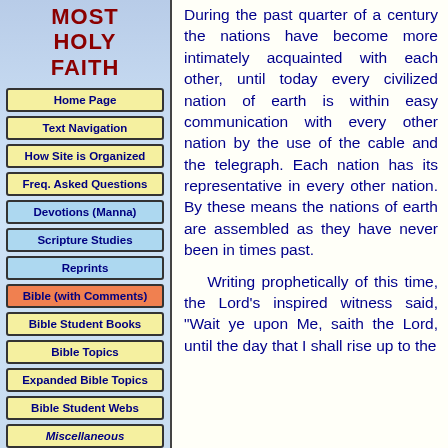MOST HOLY FAITH
Home Page
Text Navigation
How Site is Organized
Freq. Asked Questions
Devotions (Manna)
Scripture Studies
Reprints
Bible (with Comments)
Bible Student Books
Bible Topics
Expanded Bible Topics
Bible Student Webs
Miscellaneous
During the past quarter of a century the nations have become more intimately acquainted with each other, until today every civilized nation of earth is within easy communication with every other nation by the use of the cable and the telegraph. Each nation has its representative in every other nation. By these means the nations of earth are assembled as they have never been in times past.
Writing prophetically of this time, the Lord's inspired witness said, "Wait ye upon Me, saith the Lord, until the day that I shall rise up to the